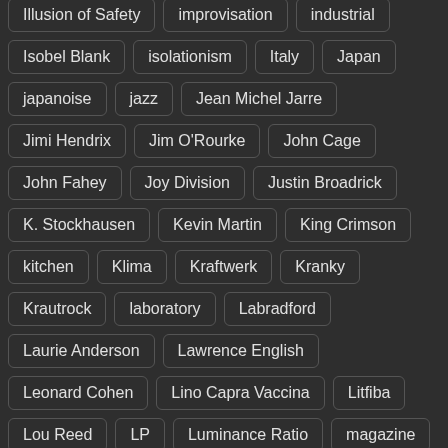Illusion of Safety
improvisation
industrial
Isobel Blank
isolationism
Italy
Japan
japanoise
jazz
Jean Michel Jarre
Jimi Hendrix
Jim O'Rourke
John Cage
John Fahey
Joy Division
Justin Broadrick
K. Stockhausen
Kevin Martin
King Crimson
kitchen
Klima
Kraftwerk
Kranky
Krautrock
laboratory
Labradford
Laurie Anderson
Lawrence English
Leonard Cohen
Lino Capra Vaccina
Litfiba
Lou Reed
LP
Luminance Ratio
magazine
mail art
Mark Nelson
Masami Akita